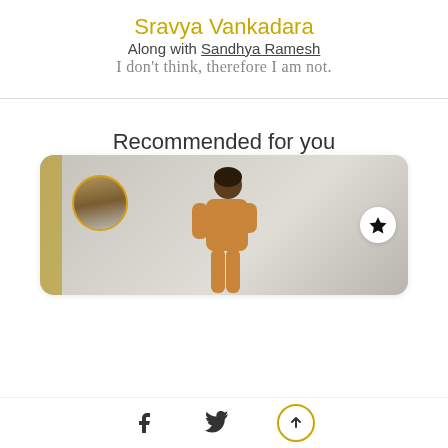Sravya Vankadara
Along with Sandhya Ramesh
I don't think, therefore I am not.
Recommended for you
[Figure (photo): Card with a person in a mustard/yellow outfit standing, with a circular avatar on the left and a star bookmark icon on the right, against a grey background.]
Navigation bar with Facebook icon, Twitter icon, and upload/share circle icon